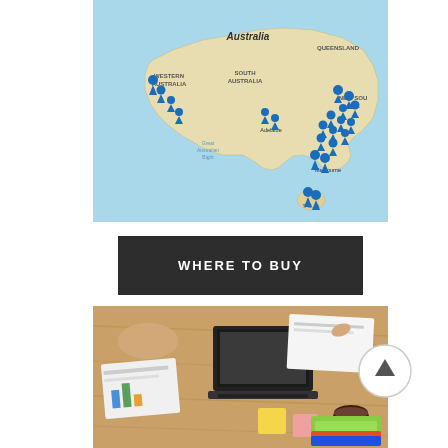[Figure (map): Map of Australia with blue location pin markers clustered along southern and eastern coastal areas including Adelaide, Melbourne, and Tasmania regions. Labels visible: Australia, Western Australia, South Australia, Queensland, New South Wales, Great Australian Bight, Melbourne, Tasmania.]
[Figure (other): Dark charcoal/black button with white bold uppercase text reading WHERE TO BUY]
[Figure (photo): Overhead photo of people at a business meeting around a wooden table with a laptop, documents showing charts, sticky notes, coffee cup, and colorful notebooks.]
[Figure (other): Circular scroll-to-top button with upward arrow icon, light grey border on white background.]